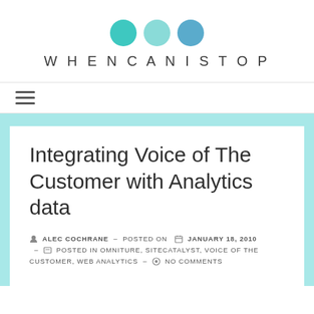[Figure (logo): WhenCanIStop blog logo with three teal/blue circles above the text 'WHENCANISTOP' in spaced uppercase letters]
☰ navigation menu icon
Integrating Voice of The Customer with Analytics data
ALEC COCHRANE – POSTED ON JANUARY 18, 2010 – POSTED IN OMNITURE, SITECATALYST, VOICE OF THE CUSTOMER, WEB ANALYTICS – NO COMMENTS